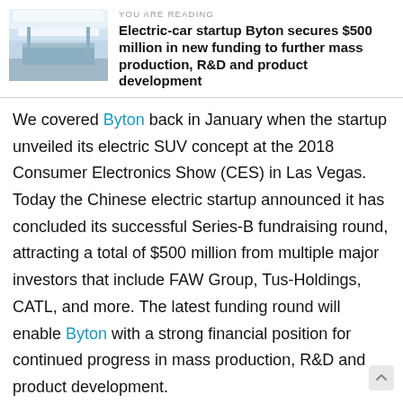YOU ARE READING
Electric-car startup Byton secures $500 million in new funding to further mass production, R&D and product development
We covered Byton back in January when the startup unveiled its electric SUV concept at the 2018 Consumer Electronics Show (CES) in Las Vegas. Today the Chinese electric startup announced it has concluded its successful Series-B fundraising round, attracting a total of $500 million from multiple major investors that include FAW Group, Tus-Holdings, CATL, and more. The latest funding round will enable Byton with a strong financial position for continued progress in mass production, R&D and product development.